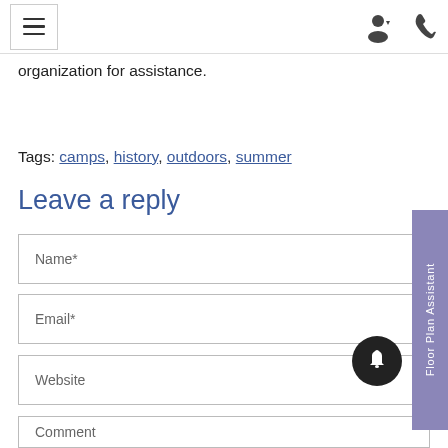Navigation bar with hamburger menu and user/phone icons
organization for assistance.
Tags: camps, history, outdoors, summer
Leave a reply
Name*
Email*
Website
Comment